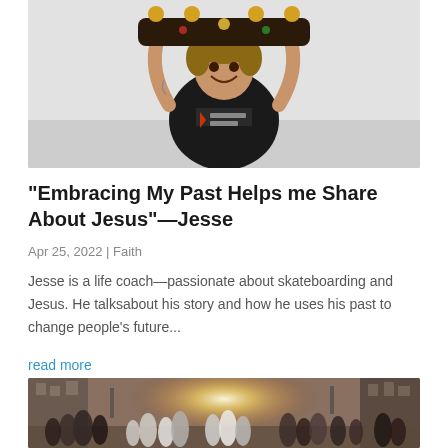[Figure (photo): Young man smiling and holding a skateboard above his head, wearing a black t-shirt, against a white wall]
“Embracing My Past Helps me Share About Jesus”—Jesse
Apr 25, 2022 | Faith
Jesse is a life coach—passionate about skateboarding and Jesus. He talksabout his story and how he uses his past to change people’s future...
read more
[Figure (photo): Busy city street with crowds of people walking, sun flare in background between buildings]